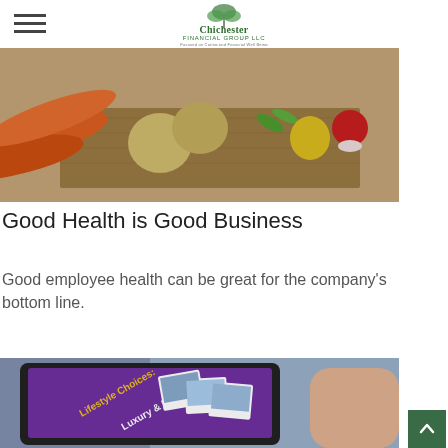Chichester Financial Group LLC – Focused on Caring and Financial Well Being
[Figure (photo): Close-up photo of fresh vegetables on a wooden cutting board, including carrots, onions, peppers, radishes, and other produce]
Good Health is Good Business
Good employee health can be great for the company's bottom line.
[Figure (photo): A hand holding a tablet displaying a purple screen with text 'Lifestyle Choices: Luxury & Leisure' and polaroid-style travel photos]